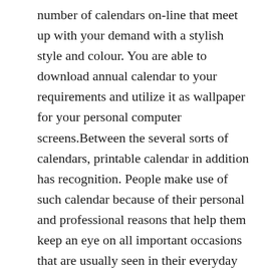number of calendars on-line that meet up with your demand with a stylish style and colour. You are able to download annual calendar to your requirements and utilize it as wallpaper for your personal computer screens.Between the several sorts of calendars, printable calendar in addition has recognition. People make use of such calendar because of their personal and professional reasons that help them keep an eye on all important occasions that are usually seen in their everyday lives. Printable calendar can be easily obtainable on the web, which may be downloaded and published. It could be fixed in the home and workplace or workplace that will assist as a reminder and maintain up-to-date about every days essential events.A free of charge calendar is hanged for the walls and will make your day to day routine a planned and a systematic one. A couple of years back, prior to the onslaught of computer systems and internet inside our lives, people popular offices and